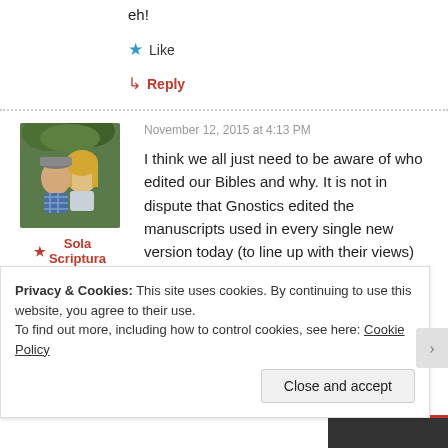eh!
★ Like
↳ Reply
November 12, 2015 at 4:13 PM
[Figure (photo): Profile photo of a man and woman outdoors with greenery in background]
★ Sola Scriptura
I think we all just need to be aware of who edited our Bibles and why. It is not in dispute that Gnostics edited the manuscripts used in every single new version today (to line up with their views)
Privacy & Cookies: This site uses cookies. By continuing to use this website, you agree to their use. To find out more, including how to control cookies, see here: Cookie Policy
Close and accept